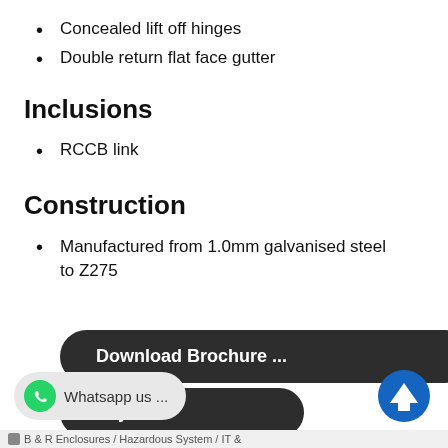Concealed lift off hinges
Double return flat face gutter
Inclusions
RCCB link
Construction
Manufactured from 1.0mm galvanised steel to Z275
Download Brochure ...
Flayer ...
Whatsapp us ...
B & R Enclosures / Hazardous System / IT &